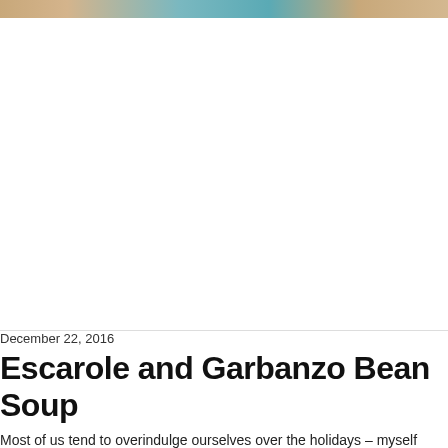[Figure (photo): Top portion of a food photo showing a bowl of soup, partially visible at the very top edge of the page with colorful elements (orange bread/crouton and teal/turquoise background)]
December 22, 2016
Escarole and Garbanzo Bean Soup
Most of us tend to overindulge ourselves over the holidays – myself